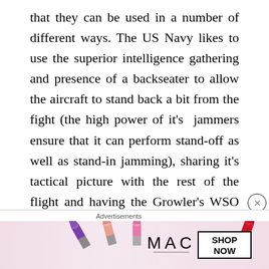that they can be used in a number of different ways. The US Navy likes to use the superior intelligence gathering and presence of a backseater to allow the aircraft to stand back a bit from the fight (the high power of it's jammers ensure that it can perform stand-off as well as stand-in jamming), sharing it's tactical picture with the rest of the flight and having the Growler's WSO (backseater) play the role of a mission commander, directing the fight. 'Quarterbacking it', as Boeing put it with a
Advertisements
[Figure (photo): MAC Cosmetics advertisement banner showing lipsticks in purple, peach, and pink/red colors with MAC logo and SHOP NOW button]